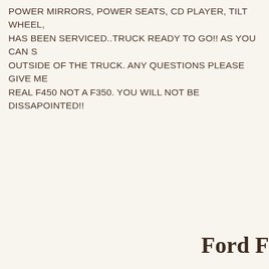POWER MIRRORS, POWER SEATS, CD PLAYER, TILT WHEEL... HAS BEEN SERVICED..TRUCK READY TO GO!! AS YOU CAN S... OUTSIDE OF THE TRUCK. ANY QUESTIONS PLEASE GIVE ME... REAL F450 NOT A F350. YOU WILL NOT BE DISSAPOINTED!!
Ford